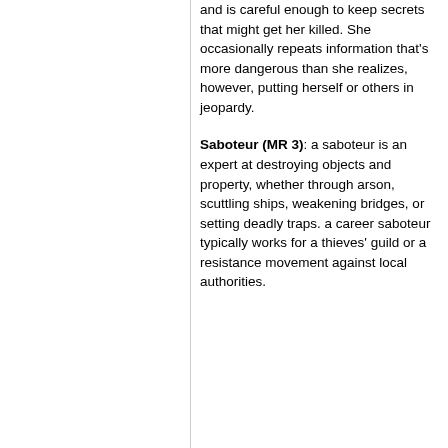and is careful enough to keep secrets that might get her killed. She occasionally repeats information that's more dangerous than she realizes, however, putting herself or others in jeopardy.
Saboteur (MR 3): a saboteur is an expert at destroying objects and property, whether through arson, scuttling ships, weakening bridges, or setting deadly traps. a career saboteur typically works for a thieves' guild or a resistance movement against local authorities.